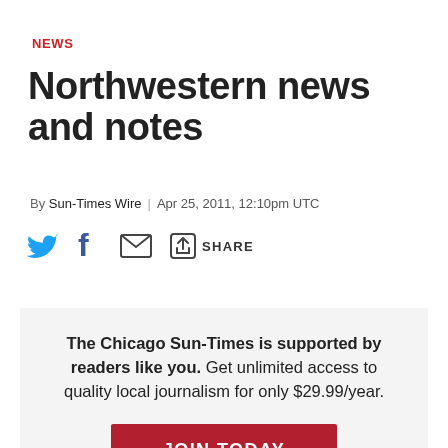NEWS
Northwestern news and notes
By Sun-Times Wire | Apr 25, 2011, 12:10pm UTC
[Figure (other): Social sharing icons: Twitter bird, Facebook f, email envelope, share icon with SHARE label]
The Chicago Sun-Times is supported by readers like you. Get unlimited access to quality local journalism for only $29.99/year. JOIN TODAY